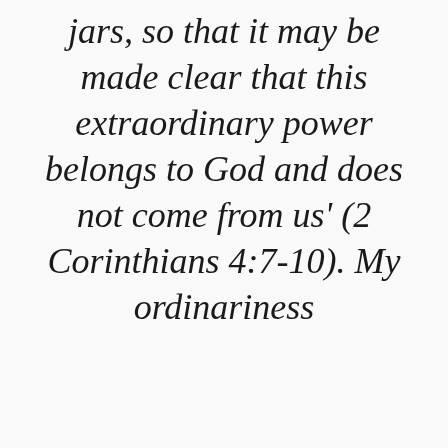jars, so that it may be made clear that this extraordinary power belongs to God and does not come from us' (2 Corinthians 4:7-10). My ordinariness